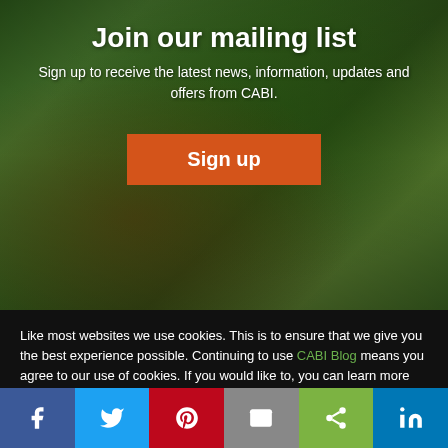Join our mailing list
Sign up to receive the latest news, information, updates and offers from CABI.
Sign up
Like most websites we use cookies. This is to ensure that we give you the best experience possible. Continuing to use CABI Blog means you agree to our use of cookies. If you would like to, you can learn more about the cookies we use here.